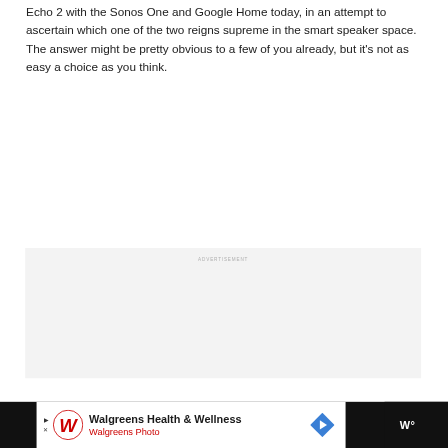Echo 2 with the Sonos One and Google Home today, in an attempt to ascertain which one of the two reigns supreme in the smart speaker space. The answer might be pretty obvious to a few of you already, but it's not as easy a choice as you think.
[Figure (other): Advertisement placeholder box with light gray background and the word ADVERTISEMENT in small gray uppercase letters at the top center]
[Figure (other): Bottom banner ad for Walgreens Health & Wellness / Walgreens Photo on white background with Walgreens cursive logo, navigation arrow icon, and a dark right section with Wired logo]